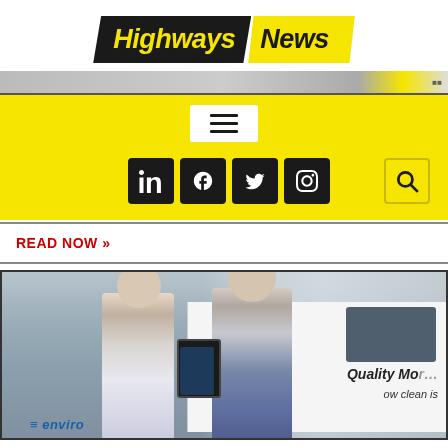[Figure (logo): Highways News logo — 'Highways' in yellow text on black parallelogram, 'News' in black text on yellow parallelogram]
[Figure (screenshot): Yellow navigation bar with hamburger menu icon (white box), social media icons (LinkedIn, Facebook, Twitter, Instagram) in black squares, and a search magnifying glass icon on yellow background]
READ NOW »
[Figure (photo): Two men standing in front of a white van with 'Quality Mo...' and 'ow clean is' text visible, in an urban setting with buildings in background. Bottom left shows partial company logo text.]